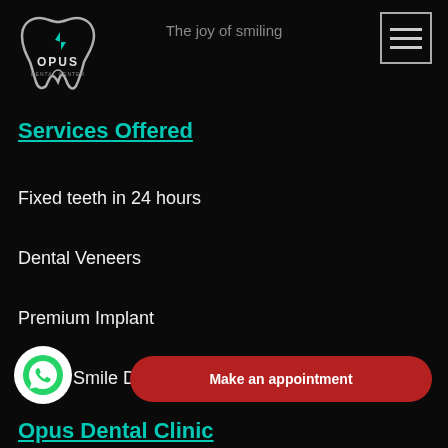[Figure (logo): Opus Dental Center logo with tooth icon and OPUS DENTAL CENTER text]
The joy of smiling
[Figure (other): Hamburger menu icon with three horizontal lines in a bordered square]
Services Offered
Fixed teeth in 24 hours
Dental Veneers
Premium Implant
Digital Smile Design
[Figure (logo): WhatsApp icon in white circle]
Make an appointment
Opus Dental Clinic